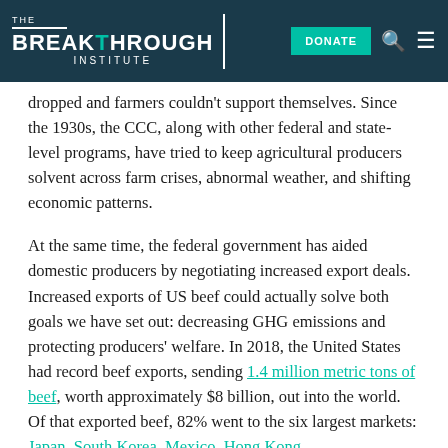THE BREAKTHROUGH INSTITUTE | DONATE
dropped and farmers couldn't support themselves. Since the 1930s, the CCC, along with other federal and state-level programs, have tried to keep agricultural producers solvent across farm crises, abnormal weather, and shifting economic patterns.
At the same time, the federal government has aided domestic producers by negotiating increased export deals. Increased exports of US beef could actually solve both goals we have set out: decreasing GHG emissions and protecting producers' welfare. In 2018, the United States had record beef exports, sending 1.4 million metric tons of beef, worth approximately $8 billion, out into the world. Of that exported beef, 82% went to the six largest markets: Japan, South Korea, Mexico, Hong Kong,